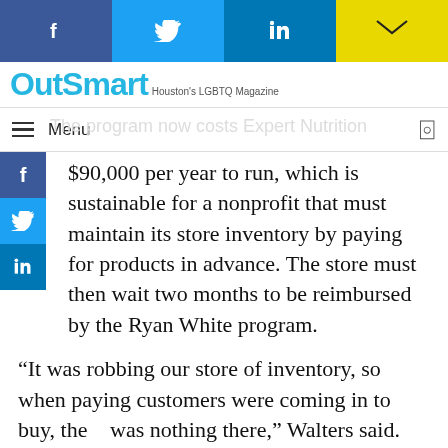[Figure (other): Social media share buttons bar: Facebook (blue), Twitter (cyan), LinkedIn (blue), Email (yellow)]
OutSmart Houston's LGBTQ Magazine
Menu
The program now costs Expert Nutrition $90,000 per year to run, which is sustainable for a nonprofit that must maintain its store inventory by paying for products in advance. The store must then wait two months to be reimbursed by the Ryan White program.
“It was robbing our store of inventory, so when paying customers were coming in to buy, there was nothing there,” Walters said. “We were subsidizing our nutrition counseling program